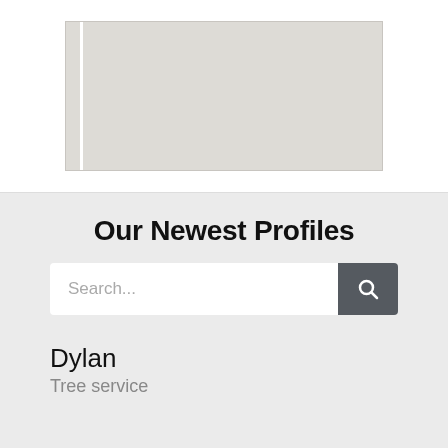[Figure (map): A map placeholder showing a light gray area with white lines, cropped at the top of the page.]
Our Newest Profiles
Search...
Dylan
Tree service